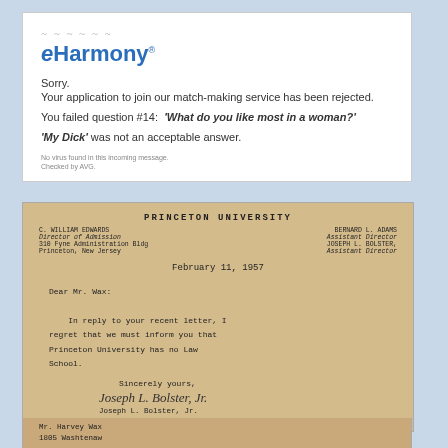[Figure (screenshot): eHarmony rejection email screenshot showing logo, rejection message about question #14, and virus check footer]
[Figure (photo): Princeton University letter dated February 11, 1957 from Joseph L. Bolster Jr. to Mr. Harvey Wax informing him that Princeton University has no Law School, with address shown at bottom]